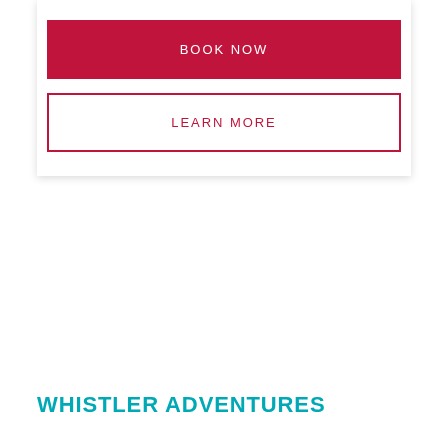BOOK NOW
LEARN MORE
WHISTLER ADVENTURES